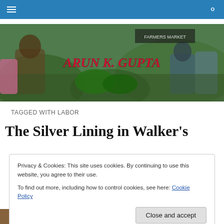Navigation bar with menu icon and search icon
[Figure (photo): Banner photo of people at an outdoor market with vegetables; overlaid with red italic bold text 'ARUN K. GUPTA']
TAGGED WITH LABOR
The Silver Lining in Walker's
Privacy & Cookies: This site uses cookies. By continuing to use this website, you agree to their use.
To find out more, including how to control cookies, see here: Cookie Policy
Close and accept
[Figure (photo): Partial bottom image strip showing outdoor scene]